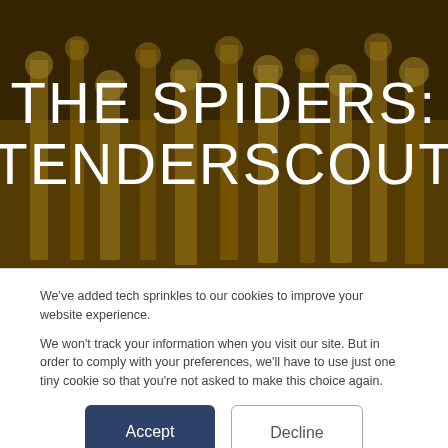[Figure (photo): A sepia/golden-toned close-up photo of metallic trophies or award statuettes with a dark overlay, serving as a hero banner background. Large white text overlaid reads 'THE SPIDERS: TENDERSCOUT'.]
THE SPIDERS: TENDERSCOUT
We've added tech sprinkles to our cookies to improve your website experience.
We won't track your information when you visit our site. But in order to comply with your preferences, we'll have to use just one tiny cookie so that you're not asked to make this choice again.
Accept
Decline